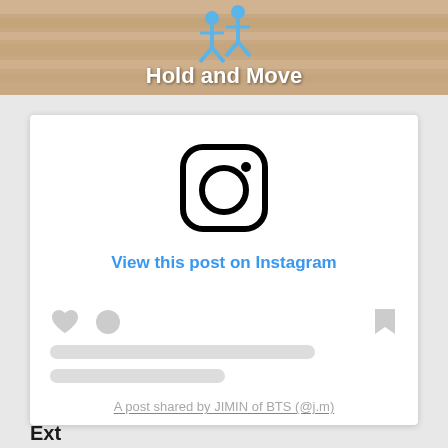[Figure (screenshot): Ad banner at top showing a game called 'Hold and Move' with cartoon figures, a close button (X) and help button (?) in top right corner]
[Figure (logo): Instagram logo: rounded square outline with a circle inside and a small dot in upper right]
View this post on Instagram
[Figure (illustration): Instagram embed UI: heart icon, circle icon (profile), bookmark icon on right, two skeleton loading lines, and shared-by attribution link]
A post shared by JIMIN of BTS (@j.m)